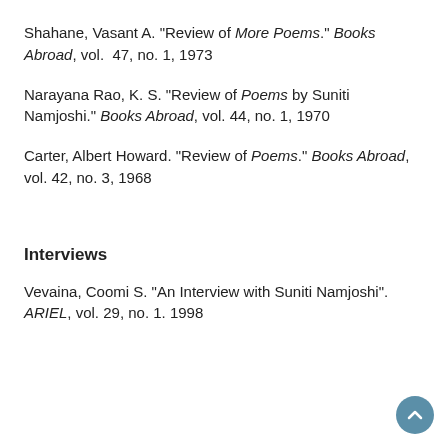Shahane, Vasant A. "Review of More Poems." Books Abroad, vol. 47, no. 1, 1973
Narayana Rao, K. S. "Review of Poems by Suniti Namjoshi." Books Abroad, vol. 44, no. 1, 1970
Carter, Albert Howard. "Review of Poems." Books Abroad, vol. 42, no. 3, 1968
Interviews
Vevaina, Coomi S. "An Interview with Suniti Namjoshi". ARIEL, vol. 29, no. 1. 1998